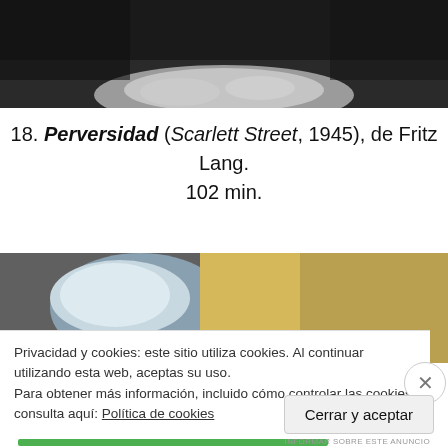[Figure (photo): Black and white photograph showing a figure with white fur or feathery material, dark background]
18. Perversidad (Scarlett Street, 1945), de Fritz Lang. 102 min.
[Figure (photo): Color photograph showing a figure wearing a white hat, warm yellowish background]
Privacidad y cookies: este sitio utiliza cookies. Al continuar utilizando esta web, aceptas su uso.
Para obtener más información, incluido cómo controlar las cookies, consulta aquí: Política de cookies
Cerrar y aceptar